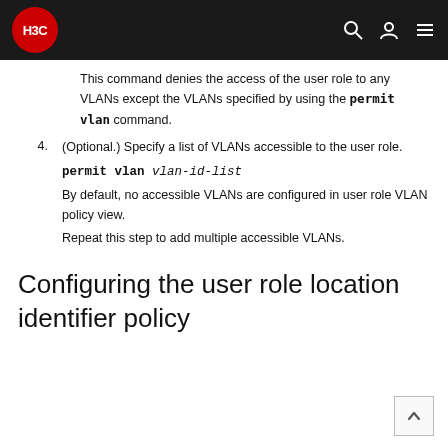H3C
This command denies the access of the user role to any VLANs except the VLANs specified by using the permit vlan command.
4. (Optional.) Specify a list of VLANs accessible to the user role.
permit vlan vlan-id-list
By default, no accessible VLANs are configured in user role VLAN policy view.
Repeat this step to add multiple accessible VLANs.
Configuring the user role location identifier policy